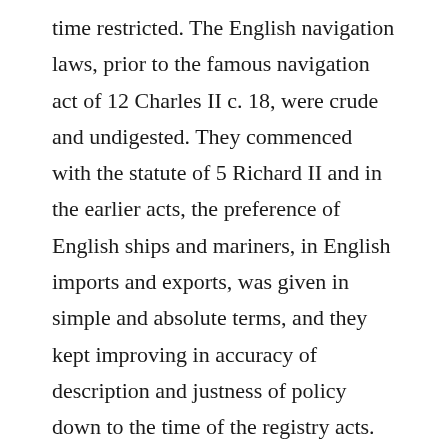time restricted. The English navigation laws, prior to the famous navigation act of 12 Charles II c. 18, were crude and undigested. They commenced with the statute of 5 Richard II and in the earlier acts, the preference of English ships and mariners, in English imports and exports, was given in simple and absolute terms, and they kept improving in accuracy of description and justness of policy down to the time of the registry acts. The navigation act of Charles II described what were English built and English owned ships, and in what cases a foreign built ship, owned by an English subject, should have the privileges of an English ship. The act did not require any foreign ships to be registered; but a foreign built ship, unless registered, was to be treated as an alien ship, though owned by a British subject. The statute of 26 Geo. III. c. 60 was framed by the elder Lord Liverpool, and it gave rise to the